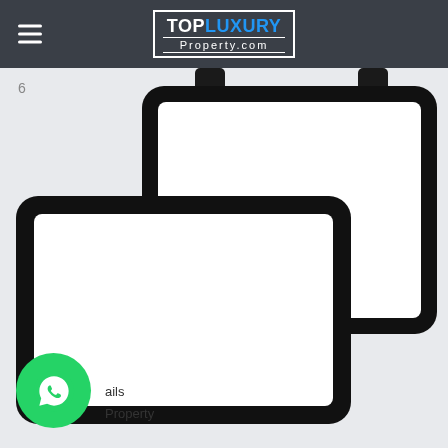TOP LUXURY Property.com
6
[Figure (illustration): Two overlapping monitor/screen frames (thick black rounded rectangles with white interior) representing a responsive design illustration. A smaller monitor is positioned upper-right, a larger monitor is in front lower-left, both with white blank screens. A WhatsApp green circular button is at the lower-left corner.]
ails
Property